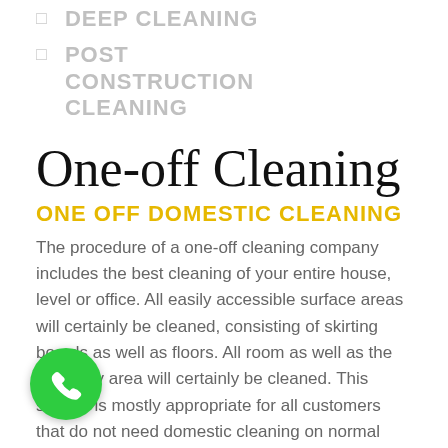DEEP CLEANING
POST CONSTRUCTION CLEANING
One-off Cleaning
ONE OFF DOMESTIC CLEANING
The procedure of a one-off cleaning company includes the best cleaning of your entire house, level or office. All easily accessible surface areas will certainly be cleaned, consisting of skirting boards as well as floors. All room as well as the entryway area will certainly be cleaned. This service is mostly appropriate for all customers that do not need domestic cleaning on normal basis. Apart from the cleaning company, we can assist you with ironing too during this moment. For ironing, please ask during b. One off cleans up is booked according to n of hrs needed and also the cleaner/clean team will certainly work for the period reserved. If you will